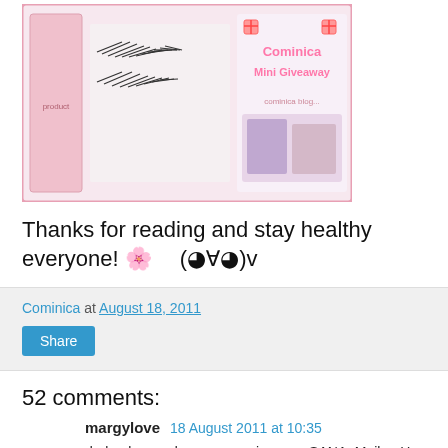[Figure (photo): Cominica Mini Giveaway promotional image showing false eyelashes and beauty products with pink border]
Thanks for reading and stay healthy everyone! 🌸 (◕∀◕)v
Cominica at August 18, 2011
Share
52 comments:
margylove  18 August 2011 at 10:35
darl, please do some review on SANA Maiko Han Base or foundie. they look great, or its juts ur skin. love ur skinn.. soooo flawless...  XD
Reply